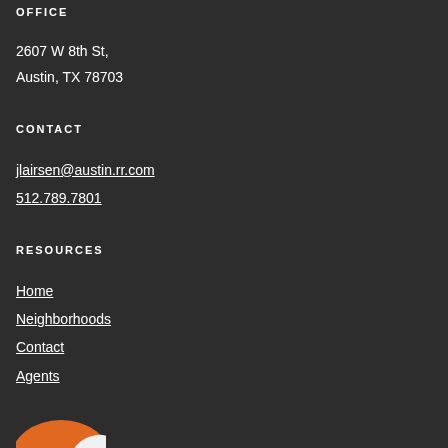OFFICE
2607 W 8th St,
Austin, TX 78703
CONTACT
jlairsen@austin.rr.com
512.789.7801
RESOURCES
Home
Neighborhoods
Contact
Agents
[Figure (logo): Orange and white bird/swoosh logo partially visible at bottom left]